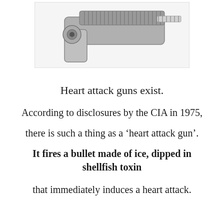[Figure (photo): Photograph of a heart attack gun — a compact silver metallic device resembling a pistol with a ridged/textured grip and measuring scale markings, shown on a white background.]
Heart attack guns exist.
According to disclosures by the CIA in 1975, there is such a thing as a ‘heart attack gun’.
It fires a bullet made of ice, dipped in shellfish toxin
that immediately induces a heart attack.